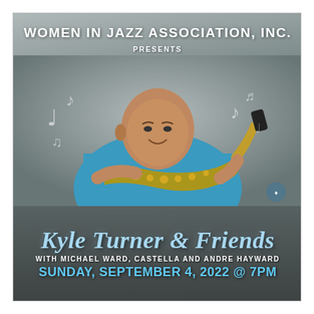WOMEN IN JAZZ ASSOCIATION, INC.
PRESENTS
[Figure (photo): A man in a blue shirt holding a saxophone, seated, with musical notes decorating the background on a grey gradient backdrop.]
Kyle Turner & Friends
WITH MICHAEL WARD, CASTELLA AND ANDRE HAYWARD
SUNDAY, SEPTEMBER 4, 2022 @ 7PM